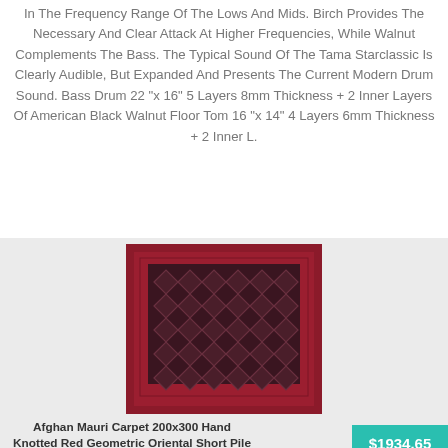In The Frequency Range Of The Lows And Mids. Birch Provides The Necessary And Clear Attack At Higher Frequencies, While Walnut Complements The Bass. The Typical Sound Of The Tama Starclassic Is Clearly Audible, But Expanded And Presents The Current Modern Drum Sound. Bass Drum 22 "x 16" 5 Layers 8mm Thickness + 2 Inner Layers Of American Black Walnut Floor Tom 16 "x 14" 4 Layers 6mm Thickness + 2 Inner L.
[Figure (photo): Afghan Mauri red geometric rug with dark diamond/lattice pattern in center on light grey background]
Afghan Mauri Carpet 200x300 Hand Knotted Red Geometric Oriental Short Pile R
$1934.65